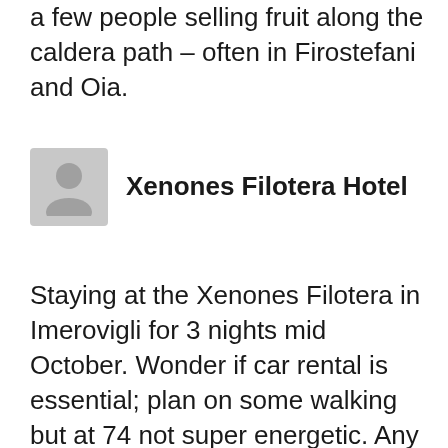a few people selling fruit along the caldera path – often in Firostefani and Oia.
Xenones Filotera Hotel
Staying at the Xenones Filotera in Imerovigli for 3 nights mid October. Wonder if car rental is essential; plan on some walking but at 74 not super energetic. Any island transport? Will we be able to see sunset caldera views without taxi hire; or if needed how expensive?
Thanks
Gale Hamilton